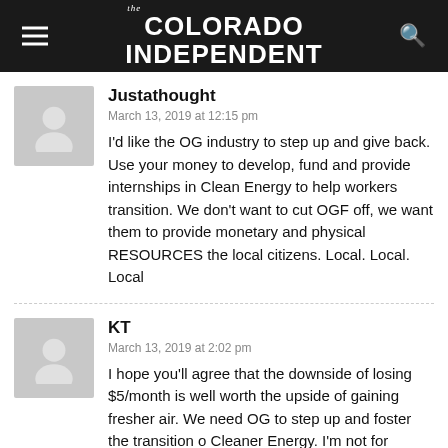The Colorado Independent
Justathought
March 13, 2019 at 12:15 pm
I'd like the OG industry to step up and give back. Use your money to develop, fund and provide internships in Clean Energy to help workers transition. We don't want to cut OGF off, we want them to provide monetary and physical RESOURCES the local citizens. Local. Local. Local
KT
March 13, 2019 at 2:02 pm
I hope you'll agree that the downside of losing $5/month is well worth the upside of gaining fresher air. We need OG to step up and foster the transition o Cleaner Energy. I'm not for cutting the OG people off at the knees, but GO needs to provide monetary and physical resources to be utilized in a massive